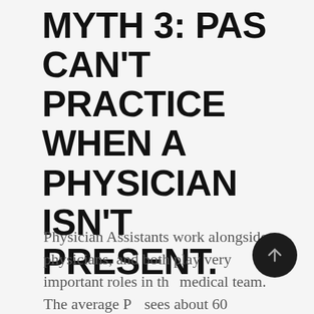MYTH 3: PAS CAN'T PRACTICE WHEN A PHYSICIAN ISN'T PRESENT.
Physician Assistants work alongside physicians, and both play very important roles in the medical team. The average PA sees about 60 patients a week, and there are no laws that require a physician to be on-site...